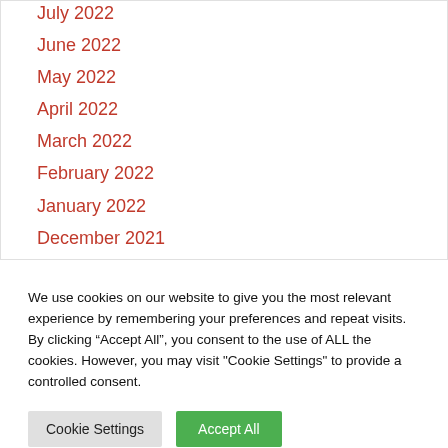July 2022
June 2022
May 2022
April 2022
March 2022
February 2022
January 2022
December 2021
November 2021
October 2021
September 2021
We use cookies on our website to give you the most relevant experience by remembering your preferences and repeat visits. By clicking “Accept All”, you consent to the use of ALL the cookies. However, you may visit "Cookie Settings" to provide a controlled consent.
Cookie Settings | Accept All